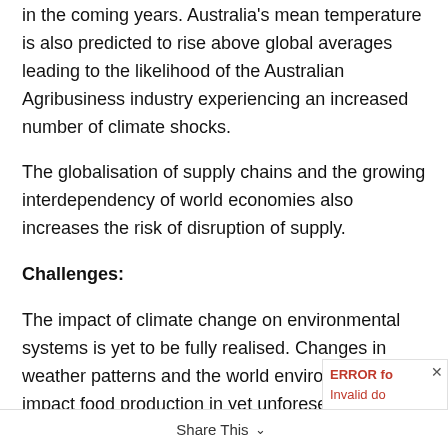in the coming years. Australia's mean temperature is also predicted to rise above global averages leading to the likelihood of the Australian Agribusiness industry experiencing an increased number of climate shocks.
The globalisation of supply chains and the growing interdependency of world economies also increases the risk of disruption of supply.
Challenges:
The impact of climate change on environmental systems is yet to be fully realised. Changes in weather patterns and the world environment may impact food production in yet unforeseeable ways.
Furthermore, over the coming years the world will change its mix of energy sources as we move away from more traditional methods to new technologies. The resulting changes in supply and demand within the energy sector are likely to increase the potential for world